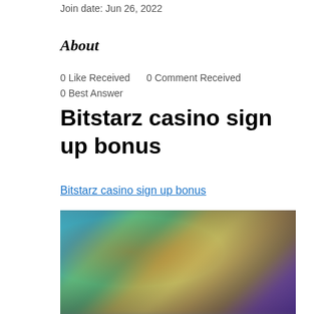Join date: Jun 26, 2022
About
0 Like Received    0 Comment Received
0 Best Answer
Bitstarz casino sign up bonus
Bitstarz casino sign up bonus
[Figure (photo): Blurred screenshot of Bitstarz casino website showing colorful game graphics]